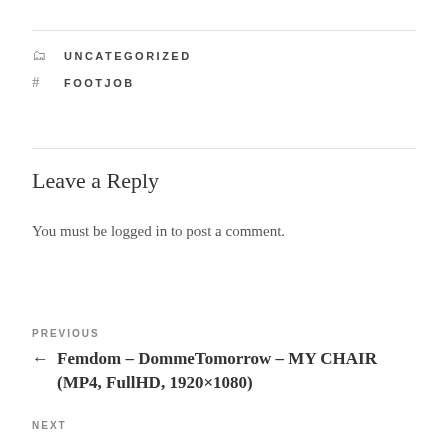UNCATEGORIZED
FOOTJOB
Leave a Reply
You must be logged in to post a comment.
PREVIOUS
← Femdom – DommeTomorrow – MY CHAIR (MP4, FullHD, 1920×1080)
NEXT